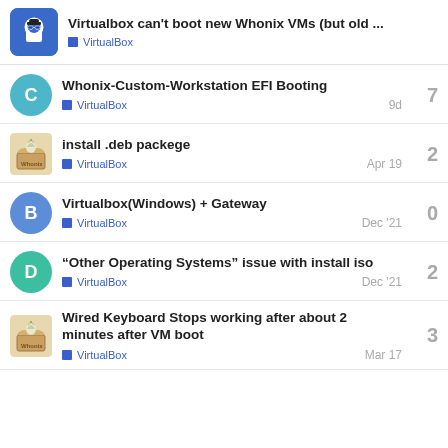Virtualbox can't boot new Whonix VMs (but old ... | VirtualBox
Whonix-Custom-Workstation EFI Booting | VirtualBox | 7 | 9d
install .deb packege | VirtualBox | 2 | Apr 19
Virtualbox(Windows) + Gateway | VirtualBox | 0 | Dec '21
“Other Operating Systems” issue with install iso | VirtualBox | 2 | Dec '21
Wired Keyboard Stops working after about 2 minutes after VM boot | VirtualBox | 3 | Mar 17